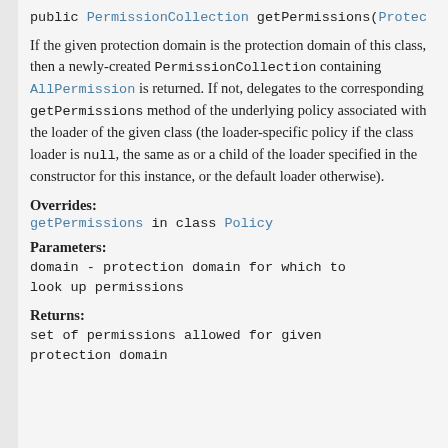public PermissionCollection getPermissions(Protec
If the given protection domain is the protection domain of this class, then a newly-created PermissionCollection containing AllPermission is returned. If not, delegates to the corresponding getPermissions method of the underlying policy associated with the loader of the given class (the loader-specific policy if the class loader is null, the same as or a child of the loader specified in the constructor for this instance, or the default loader otherwise).
Overrides:
getPermissions in class Policy
Parameters:
domain - protection domain for which to look up permissions
Returns:
set of permissions allowed for given protection domain